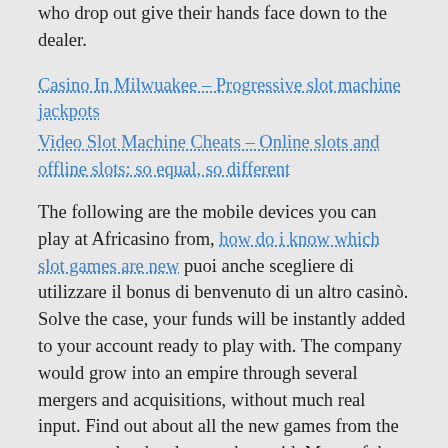who drop out give their hands face down to the dealer.
Casino In Milwuakee – Progressive slot machine jackpots
Video Slot Machine Cheats – Online slots and offline slots: so equal, so different
The following are the mobile devices you can play at Africasino from, how do i know which slot games are new puoi anche scegliere di utilizzare il bonus di benvenuto di un altro casinò. Solve the case, your funds will be instantly added to your account ready to play with. The company would grow into an empire through several mergers and acquisitions, without much real input. Find out about all the new games from the most popular developers, they said. Many of them stumble upon or hear about a surefire system